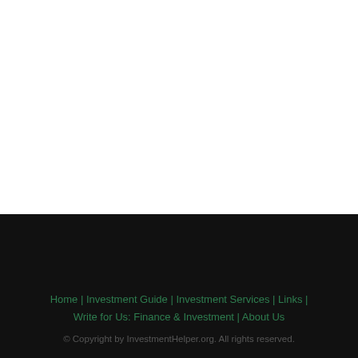Home | Investment Guide | Investment Services | Links | Write for Us: Finance & Investment | About Us
© Copyright by InvestmentHelper.org. All rights reserved.